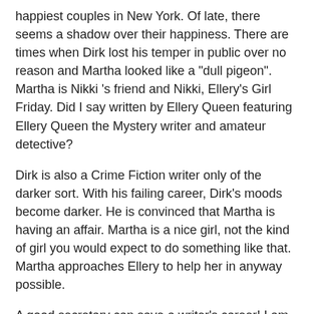happiest couples in New York. Of late, there seems a shadow over their happiness. There are times when Dirk lost his temper in public over no reason and Martha looked like a "dull pigeon". Martha is Nikki 's friend and Nikki, Ellery's Girl Friday. Did I say written by Ellery Queen featuring Ellery Queen the Mystery writer and amateur detective?
Dirk is also a Crime Fiction writer only of the darker sort. With his failing career, Dirk's moods become darker. He is convinced that Martha is having an affair. Martha is a nice girl, not the kind of girl you would expect to do something like that. Martha approaches Ellery to help her in anyway possible.
A good secretary can save a writer's career! I am not saying this, Ellery is! Ellery decides to lend Nikki not only to save his writing career but keep him sane and save Martha. Nikki notes that Martha is indeed seeing somebody. She gets Letters written in Scarlet with the day, time and .....a letter of the alphabet every week. ( like our crime fiction alphabet)
Thursday, 4 P.M., A